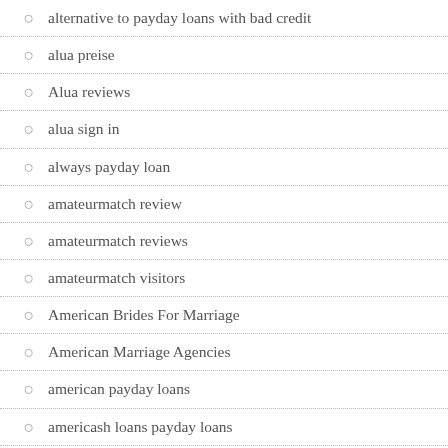alternative to payday loans with bad credit
alua preise
Alua reviews
alua sign in
always payday loan
amateurmatch review
amateurmatch reviews
amateurmatch visitors
American Brides For Marriage
American Marriage Agencies
american payday loans
americash loans payday loans